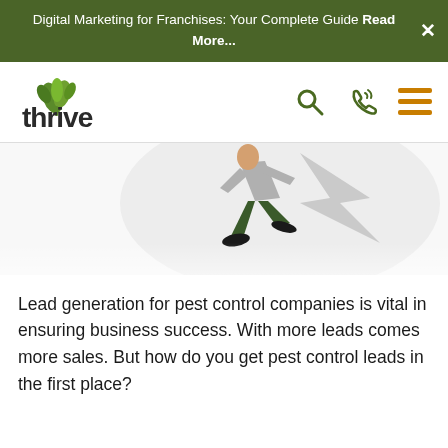Digital Marketing for Franchises: Your Complete Guide Read More...
[Figure (logo): Thrive agency logo with green leaf icon and dark text 'thrive']
[Figure (illustration): Illustration showing a person running with a laptop/arrow graphic, partially cropped hero image]
Lead generation for pest control companies is vital in ensuring business success. With more leads comes more sales. But how do you get pest control leads in the first place?